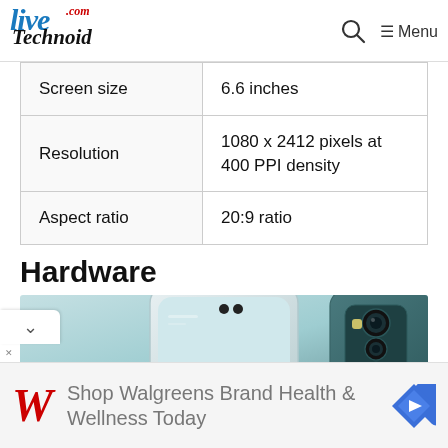LiveTechnoid.com — Menu
| Screen size | 6.6 inches |
| Resolution | 1080 x 2412 pixels at 400 PPI density |
| Aspect ratio | 20:9 ratio |
Hardware
[Figure (photo): Two smartphones shown side by side against a teal/light blue background — one showing front face with punch-hole camera, one showing rear camera array]
[Figure (infographic): Walgreens advertisement banner: Shop Walgreens Brand Health & Wellness Today, with red W logo and blue navigation arrow icon]